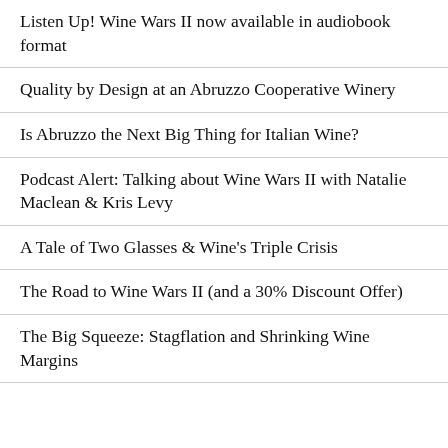Listen Up! Wine Wars II now available in audiobook format
Quality by Design at an Abruzzo Cooperative Winery
Is Abruzzo the Next Big Thing for Italian Wine?
Podcast Alert: Talking about Wine Wars II with Natalie Maclean & Kris Levy
A Tale of Two Glasses & Wine's Triple Crisis
The Road to Wine Wars II (and a 30% Discount Offer)
The Big Squeeze: Stagflation and Shrinking Wine Margins